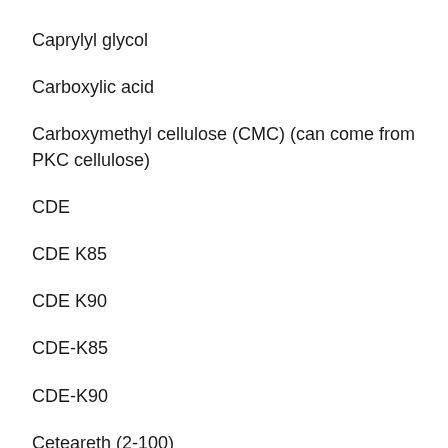Caprylyl glycol
Carboxylic acid
Carboxymethyl cellulose (CMC) (can come from PKC cellulose)
CDE
CDE K85
CDE K90
CDE-K85
CDE-K90
Ceteareth (2-100)